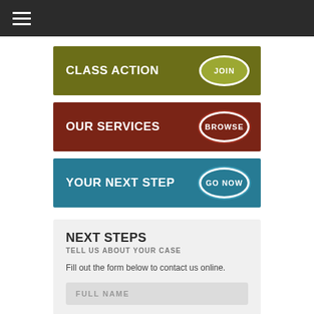Navigation menu (hamburger icon)
[Figure (infographic): Three colored call-to-action banners: 'CLASS ACTION JOIN' (olive green), 'OUR SERVICES BROWSE' (dark brown/red), 'YOUR NEXT STEP GO NOW' (teal)]
NEXT STEPS
TELL US ABOUT YOUR CASE
Fill out the form below to contact us online.
FULL NAME